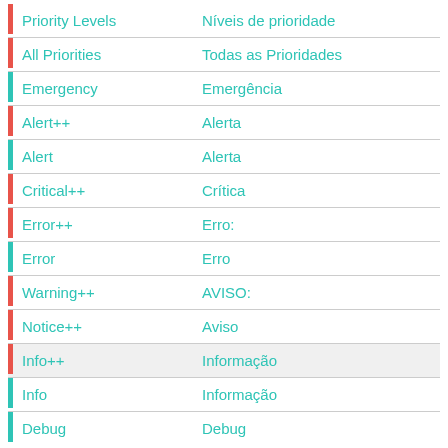|  | English | Portuguese |
| --- | --- | --- |
| red | Priority Levels | Níveis de prioridade |
| red | All Priorities | Todas as Prioridades |
| teal | Emergency | Emergência |
| red | Alert++ | Alerta |
| teal | Alert | Alerta |
| red | Critical++ | Crítica |
| red | Error++ | Erro: |
| teal | Error | Erro |
| red | Warning++ | AVISO: |
| red | Notice++ | Aviso |
| red | Info++ | Informação |
| teal | Info | Informação |
| teal | Debug | Debug |